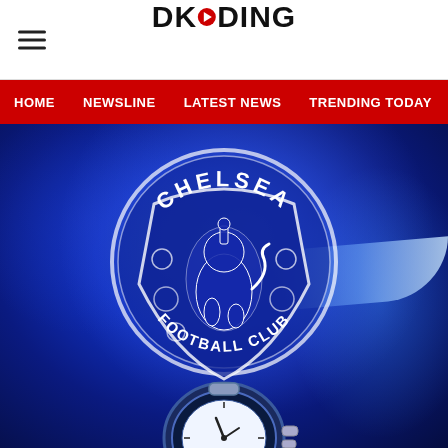DKODING
HOME  NEWSLINE  LATEST NEWS  TRENDING TODAY  ENT
[Figure (photo): Chelsea Football Club badge/logo on a glowing blue flag background, with a luxury watch partially visible at the bottom of the image]